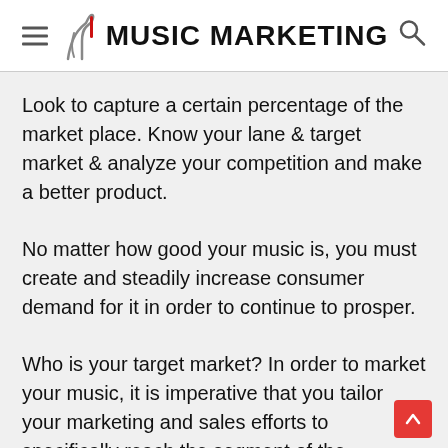MUSIC MARKETING
Look to capture a certain percentage of the market place. Know your lane & target market & analyze your competition and make a better product.
No matter how good your music is, you must create and steadily increase consumer demand for it in order to continue to prosper.
Who is your target market? In order to market your music, it is imperative that you tailor your marketing and sales efforts to specifically reach the segment of the population that will most likely buy your music.
It is critical that you first determine or clearly identify your